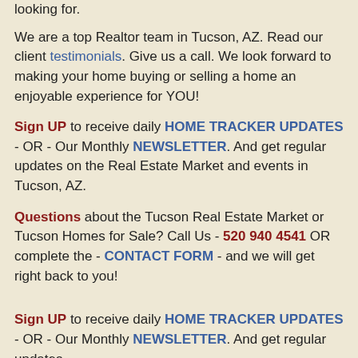looking for.
We are a top Realtor team in Tucson, AZ. Read our client testimonials. Give us a call. We look forward to making your home buying or selling a home an enjoyable experience for YOU!
Sign UP to receive daily HOME TRACKER UPDATES - OR - Our Monthly NEWSLETTER. And get regular updates on the Real Estate Market and events in Tucson, AZ.
Questions about the Tucson Real Estate Market or Tucson Homes for Sale? Call Us - 520 940 4541 OR complete the - CONTACT FORM - and we will get right back to you!
Sign UP to receive daily HOME TRACKER UPDATES - OR - Our Monthly NEWSLETTER. And get regular updates